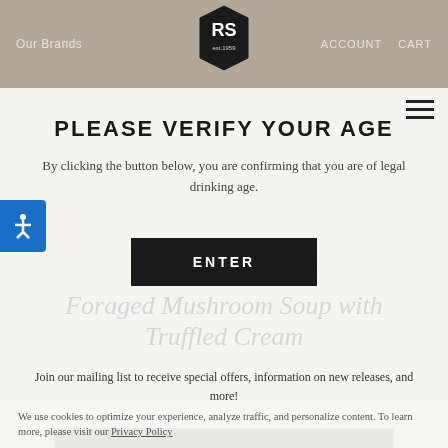Our Brands | ACCOUNT | CART
PLEASE VERIFY YOUR AGE
By clicking the button below, you are confirming that you are of legal drinking age.
ENTER
Foraged Mushroom Soup with Truffled Cream
Join our mailing list to receive special offers, information on new releases, and more!
YES, I WANT TO SAVE 10%!
We use cookies to optimize your experience, analyze traffic, and personalize content. To learn more, please visit our Privacy Policy